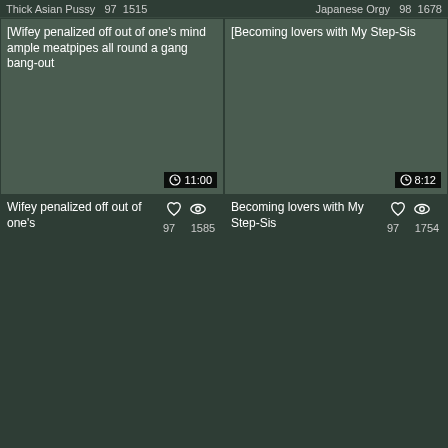Thick Asian Pussy  97  1515    Japanese Orgy  98  1678
[Figure (screenshot): Video thumbnail placeholder for 'Wifey penalized off out of one's mind ample meatpipes all round a gang bang-out', duration 11:00]
[Figure (screenshot): Video thumbnail placeholder for 'Becoming lovers with My Step-Sis', duration 8:12]
Wifey penalized off out of one's
97  1585
Becoming lovers with My Step-Sis
97  1754